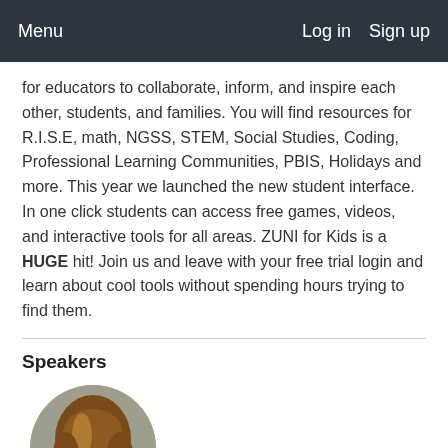Menu    Log in    Sign up
for educators to collaborate, inform, and inspire each other, students, and families. You will find resources for R.I.S.E, math, NGSS, STEM, Social Studies, Coding, Professional Learning Communities, PBIS, Holidays and more. This year we launched the new student interface. In one click students can access free games, videos, and interactive tools for all areas. ZUNI for Kids is a HUGE hit! Join us and leave with your free trial login and learn about cool tools without spending hours trying to find them.
Speakers
[Figure (photo): Circular portrait photo of a woman with shoulder-length highlighted brown hair, smiling, wearing dark clothing, with a blurred grey background.]
ZUNI Learning Tree